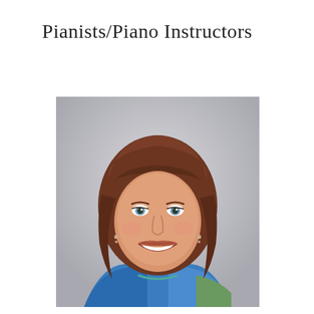Pianists/Piano Instructors
[Figure (photo): Portrait photo of a smiling middle-aged woman with shoulder-length auburn/brown hair and bangs, blue eyes, wearing a blue patterned top and teal/turquoise necklace, photographed against a light gray background.]